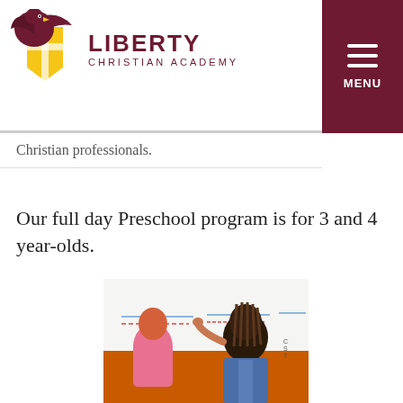Liberty Christian Academy
Christian professionals.
Our full day Preschool program is for 3 and 4 year-olds.
[Figure (photo): Two young children writing on a whiteboard in a classroom setting. One child wearing a pink outfit on the left, another with braided hair wearing a denim jacket on the right. The whiteboard shows lines and markings. An orange wall is visible at the bottom.]